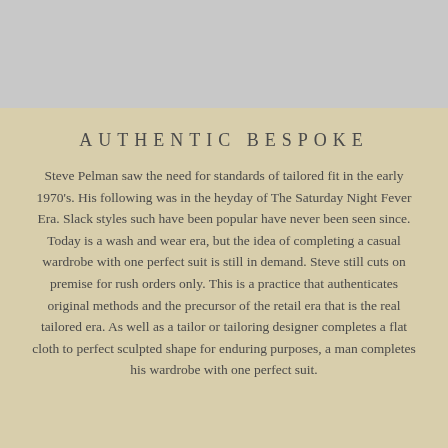[Figure (photo): Gray rectangle at top of page serving as a decorative image placeholder]
AUTHENTIC BESPOKE
Steve Pelman saw the need for standards of tailored fit in the early 1970's. His following was in the heyday of The Saturday Night Fever Era. Slack styles such have been popular have never been seen since. Today is a wash and wear era, but the idea of completing a casual wardrobe with one perfect suit is still in demand. Steve still cuts on premise for rush orders only. This is a practice that authenticates original methods and the precursor of the retail era that is the real tailored era. As well as a tailor or tailoring designer completes a flat cloth to perfect sculpted shape for enduring purposes, a man completes his wardrobe with one perfect suit.